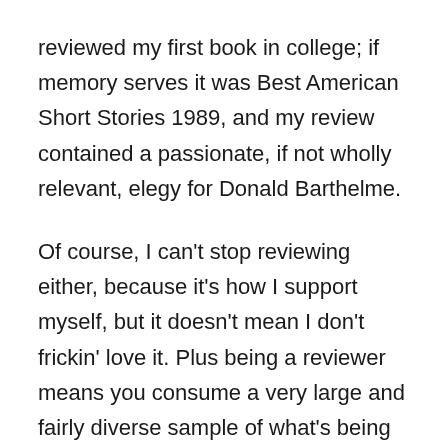reviewed my first book in college; if memory serves it was Best American Short Stories 1989, and my review contained a passionate, if not wholly relevant, elegy for Donald Barthelme.
Of course, I can't stop reviewing either, because it's how I support myself, but it doesn't mean I don't frickin' love it. Plus being a reviewer means you consume a very large and fairly diverse sample of what's being written right now, which is instructive for a fiction writer, and means you can steal from lots of different people at once. It's like being a doctor who's also a pillhead — you can write your own prescriptions for medications from